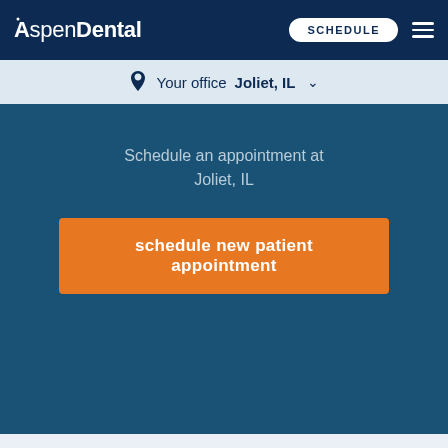AspenDental — SCHEDULE navigation bar
Your office Joliet, IL
Schedule an appointment at
Joliet, IL
schedule new patient appointment